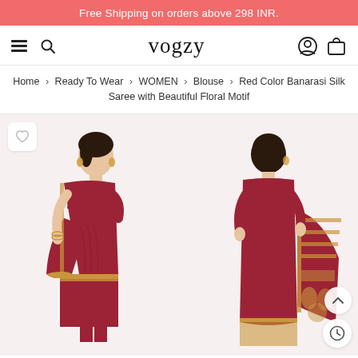Free Shipping on orders above 298 INR.
[Figure (logo): Vogzy e-commerce navigation bar with hamburger menu, search icon, logo 'vogzy', user account icon, and shopping bag icon]
Home > Ready To Wear > WOMEN > Blouse > Red Color Banarasi Silk Saree with Beautiful Floral Motif
[Figure (photo): Front view of a woman wearing a red Banarasi Silk Saree with golden floral motif border, with a heart/wishlist button overlay]
[Figure (photo): Back view of a woman wearing a red Banarasi Silk Saree with golden floral motif border, with scroll-up and clock buttons overlay]